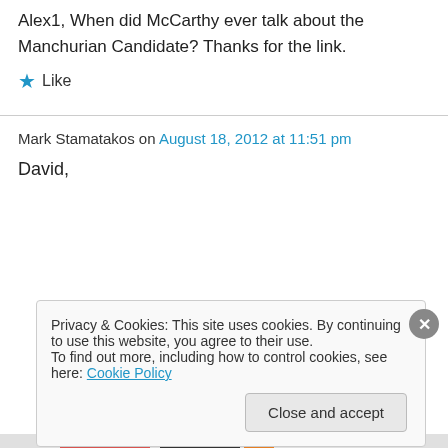Alex1, When did McCarthy ever talk about the Manchurian Candidate? Thanks for the link.
★ Like
Mark Stamatakos on August 18, 2012 at 11:51 pm
David,
Privacy & Cookies: This site uses cookies. By continuing to use this website, you agree to their use.
To find out more, including how to control cookies, see here: Cookie Policy
Close and accept